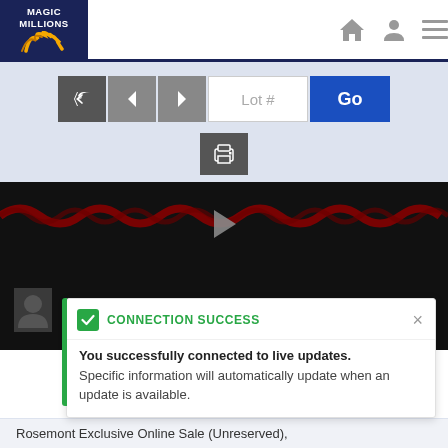[Figure (screenshot): Magic Millions website header with logo, navigation icons (home, user, menu)]
[Figure (screenshot): Navigation bar with back, previous, next buttons, Lot # input field, and Go button]
[Figure (screenshot): Print button in navigation bar]
[Figure (screenshot): Video player showing Ian MacPherson Agent Assessment with play button and red audio waveform stripes]
CONNECTION SUCCESS
You successfully connected to live updates. Specific information will automatically update when an update is available.
Rosemont Exclusive Online Sale (Unreserved),